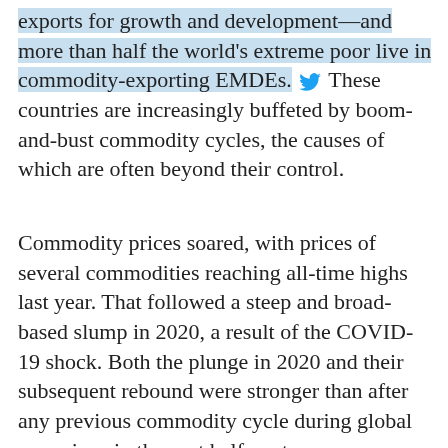exports for growth and development—and more than half the world's extreme poor live in commodity-exporting EMDEs. These countries are increasingly buffeted by boom-and-bust commodity cycles, the causes of which are often beyond their control.
Commodity prices soared, with prices of several commodities reaching all-time highs last year. That followed a steep and broad-based slump in 2020, a result of the COVID-19 shock. Both the plunge in 2020 and their subsequent rebound were stronger than after any previous commodity cycle during global recessions in the past half-century.